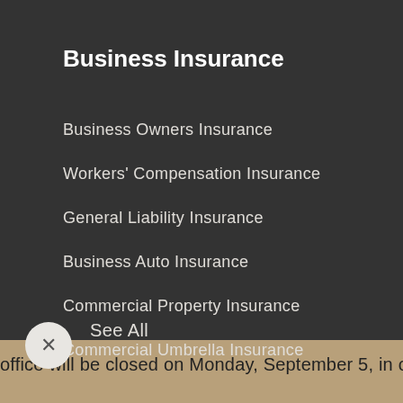Business Insurance
Business Owners Insurance
Workers' Compensation Insurance
General Liability Insurance
Business Auto Insurance
Commercial Property Insurance
Commercial Umbrella Insurance
See All
office will be closed on Monday, September 5, in obs